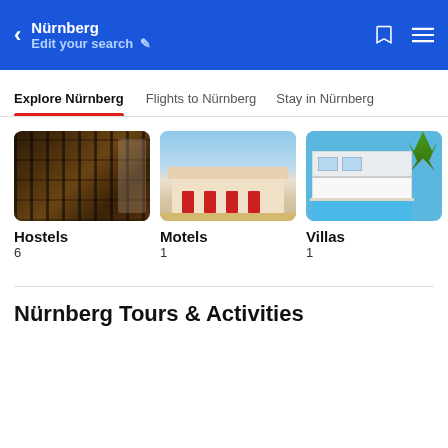Nürnberg / Edit your search
Explore Nürnberg | Flights to Nürnberg | Stay in Nürnberg
[Figure (photo): Interior of a hostel with dark wooden shelving and bunk beds]
Hostels
6
[Figure (photo): Exterior of a motel with red doors and parking area]
Motels
1
[Figure (photo): White villa with swimming pool and palm tree]
Villas
1
Nürnberg Tours & Activities